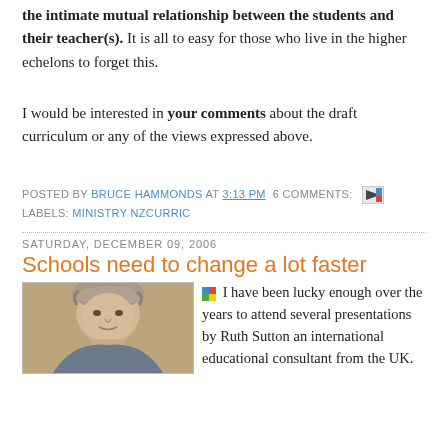the intimate mutual relationship between the students and their teacher(s). It is all to easy for those who live in the higher echelons to forget this.
I would be interested in your comments about the draft curriculum or any of the views expressed above.
POSTED BY BRUCE HAMMONDS AT 3:13 PM  6 COMMENTS:
LABELS: MINISTRY NZCURRIC
SATURDAY, DECEMBER 09, 2006
Schools need to change a lot faster
[Figure (photo): Portrait photo of a person with disheveled gray hair against a muted background]
I have been lucky enough over the years to attend several presentations by Ruth Sutton an international educational consultant from the UK.